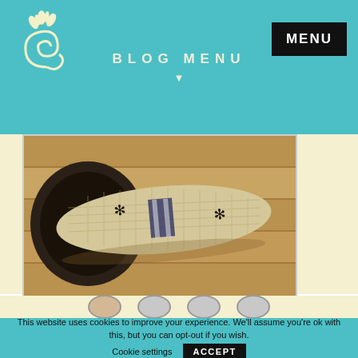BLOG MENU
[Figure (photo): A rolled woven mat or rug with black star/flower decorations, placed on a wooden floor with a dark round object in the background]
This website uses cookies to improve your experience. We'll assume you're ok with this, but you can opt-out if you wish. Cookie settings ACCEPT